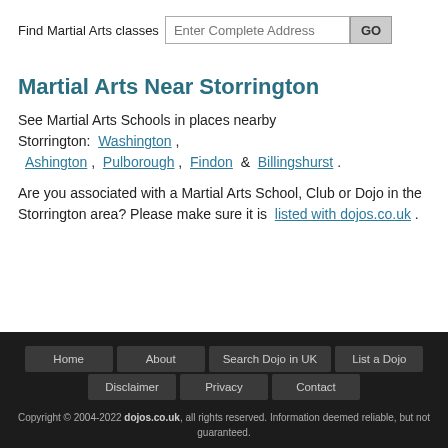Find Martial Arts classes | Enter Complete Address | GO
Martial Arts Near Storrington
See Martial Arts Schools in places nearby Storrington: Washington , Ashington , Pulborough , Findon & Billingshurst .
Are you associated with a Martial Arts School, Club or Dojo in the Storrington area? Please make sure it is listed with dojos.co.uk .
Home | About | Search Dojo in UK | List a Dojo | Disclaimer | Privacy | Contact
Copyright © 2004-2022 dojos.co.uk, all rights reserved. Information deemed reliable, but not guaranteed.